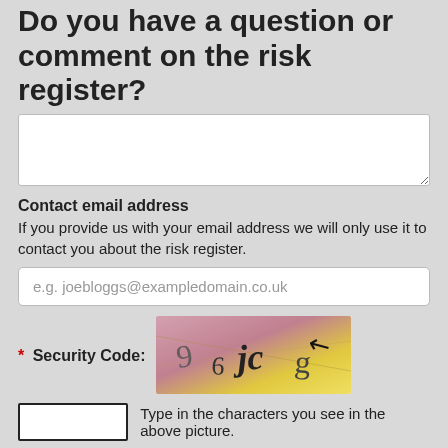Do you have a question or comment on the risk register?
Contact email address
If you provide us with your email address we will only use it to contact you about the risk register.
[Figure (screenshot): CAPTCHA image showing characters: 9 6 jc g with a cursor arrow, on a yellow-pink gradient background]
Type in the characters you see in the above picture.
The UK Plant Health Risk Register is hosted by Fera